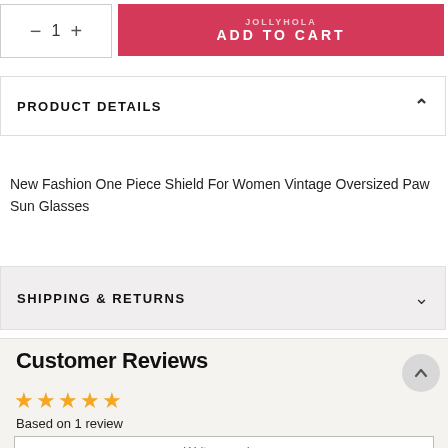[Figure (screenshot): Add to cart button with JOLLYHOLA brand text and quantity selector showing minus, 1, plus]
PRODUCT DETAILS
New Fashion One Piece Shield For Women Vintage Oversized Paw Sun Glasses
SHIPPING & RETURNS
Customer Reviews
Based on 1 review
Write a review